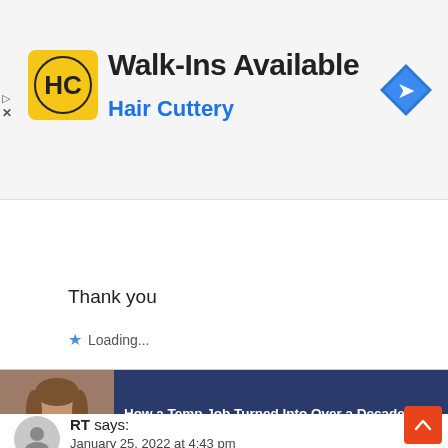[Figure (infographic): Hair Cuttery advertisement banner with logo, 'Walk-Ins Available' title, and navigation icon]
Htay Htay says:
January 25, 2022 at 3:00 pm
Thank you
Loading...
Reply
[Figure (infographic): Sponsored article ad: 'How a Temp Job Turned Into Over a Decade of Growth for This HR Manager' — Sponsored: The Muse, with photo of woman]
RT says:
January 25, 2022 at 4:43 pm